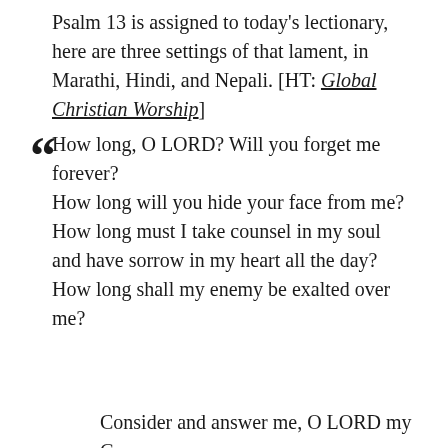Psalm 13 is assigned to today's lectionary, here are three settings of that lament, in Marathi, Hindi, and Nepali. [HT: Global Christian Worship]
How long, O LORD? Will you forget me forever? How long will you hide your face from me? How long must I take counsel in my soul and have sorrow in my heart all the day? How long shall my enemy be exalted over me?
Consider and answer me, O LORD my G...